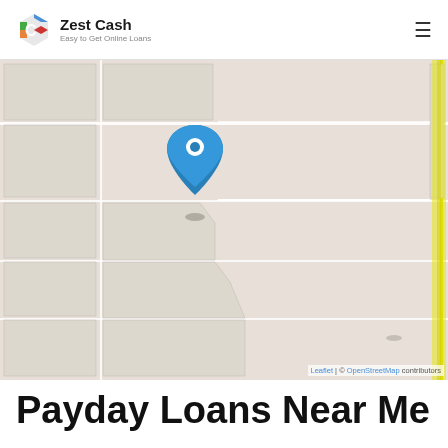Zest Cash — Easy to Get Online Loans
[Figure (map): OpenStreetMap showing a rural area with road grid and a blue location pin marker. A yellow road labeled '1570E' runs along the right edge. Attribution reads: Leaflet | © OpenStreetMap contributors.]
Payday Loans Near Me